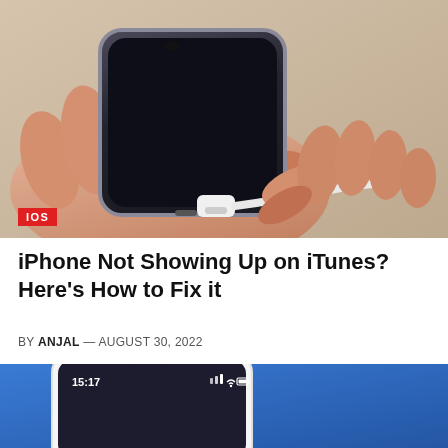[Figure (photo): A person holding an iPhone in the palm of their hand and plugging a white Lightning cable into the charging port. The background is a warm beige/tan color.]
IOS
iPhone Not Showing Up on iTunes? Here's How to Fix it
BY ANJAL — AUGUST 30, 2022
[Figure (photo): Partial photo of an iPhone screen showing time 15:17, with a blue background, cropped at the bottom of the page.]